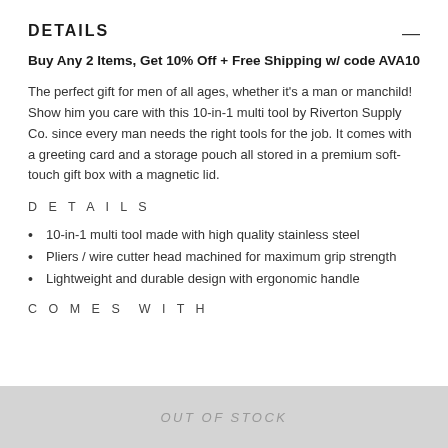DETAILS
Buy Any 2 Items, Get 10% Off + Free Shipping w/ code AVA10
The perfect gift for men of all ages, whether it's a man or manchild! Show him you care with this 10-in-1 multi tool by Riverton Supply Co. since every man needs the right tools for the job. It comes with a greeting card and a storage pouch all stored in a premium soft-touch gift box with a magnetic lid.
DETAILS
10-in-1 multi tool made with high quality stainless steel
Pliers / wire cutter head machined for maximum grip strength
Lightweight and durable design with ergonomic handle
COMES WITH
OUT OF STOCK